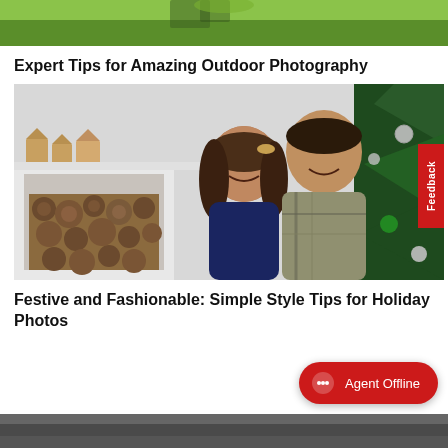[Figure (photo): Top cropped image showing green grass outdoor scene]
Expert Tips for Amazing Outdoor Photography
[Figure (photo): Two children posing in front of a Christmas tree and fireplace with logs. A girl in a navy jacket and a boy in a plaid shirt smiling. Holiday home decor in background.]
Festive and Fashionable: Simple Style Tips for Holiday Photos
[Figure (screenshot): Agent Offline chat button (red pill-shaped button at bottom right)]
[Figure (photo): Bottom strip showing a dark grey surface, partially visible]